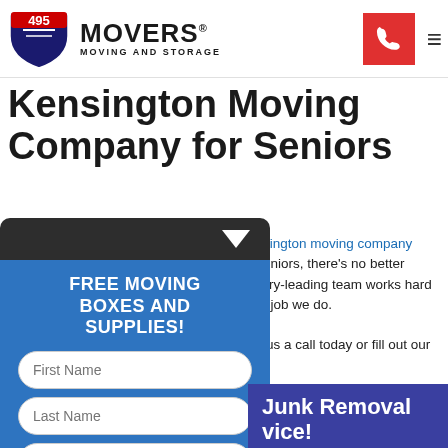495 MOVERS - MOVING AND STORAGE
Kensington Moving Company for Seniors
Kensington moving company for seniors, there's no better industry-leading team works hard every job we do. Give us a call today or fill out our quote.
[Figure (other): FREE MOVING BOXES AND SUPPLIES promo panel with form fields: First Name, Last Name, Phone Number, Email, and SUBMIT button]
Junk Removal vice! Removal during your handle it for you! Quote